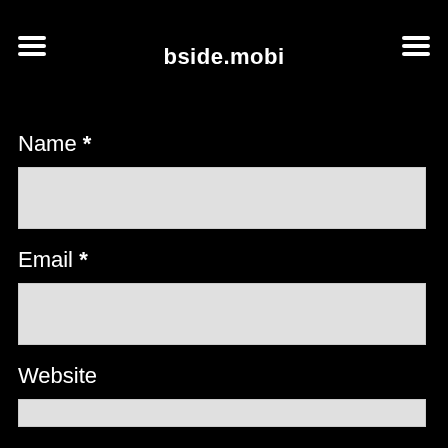bside.mobi
Name *
[Figure (screenshot): Text input field for Name, light gray background]
Email *
[Figure (screenshot): Text input field for Email, light gray background]
Website
[Figure (screenshot): Text input field for Website, light gray background, partially visible]